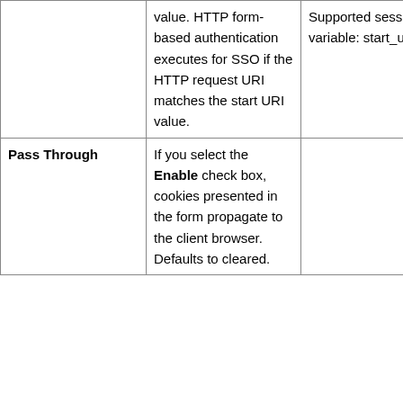|  | value. HTTP form-based authentication executes for SSO if the HTTP request URI matches the start URI value. | Supported session variable: start_uri |
| Pass Through | If you select the Enable check box, cookies presented in the form propagate to the client browser. Defaults to cleared. |  |